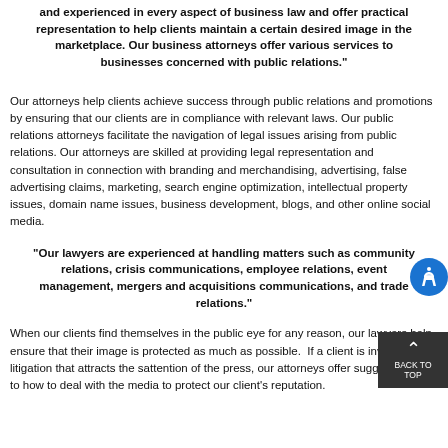and experienced in every aspect of business law and offer practical representation to help clients maintain a certain desired image in the marketplace. Our business attorneys offer various services to businesses concerned with public relations."
Our attorneys help clients achieve success through public relations and promotions by ensuring that our clients are in compliance with relevant laws. Our public relations attorneys facilitate the navigation of legal issues arising from public relations. Our attorneys are skilled at providing legal representation and consultation in connection with branding and merchandising, advertising, false advertising claims, marketing, search engine optimization, intellectual property issues, domain name issues, business development, blogs, and other online social media.
"Our lawyers are experienced at handling matters such as community relations, crisis communications, employee relations, event management, mergers and acquisitions communications, and trade relations."
When our clients find themselves in the public eye for any reason, our lawyers help ensure that their image is protected as much as possible. If a client is involved in litigation that attracts the attention of the press, our attorneys offer suggestions as to how to deal with the media to protect our client's reputation.